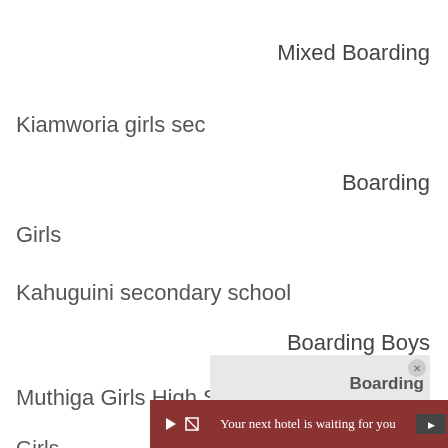Mixed Boarding
Kiamworia girls sec
Boarding
Girls
Kahuguini secondary school
Boarding Boys
Muthiga Girls High School
Boarding
Girls